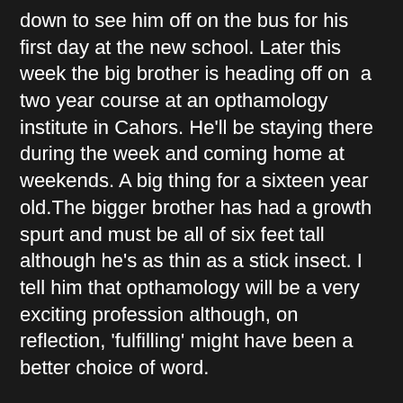down to see him off on the bus for his first day at the new school. Later this week the big brother is heading off on  a two year course at an opthamology institute in Cahors. He'll be staying there during the week and coming home at weekends. A big thing for a sixteen year old.The bigger brother has had a growth spurt and must be all of six feet tall although he's as thin as a stick insect. I tell him that opthamology will be a very exciting profession although, on reflection, 'fulfilling' might have been a better choice of word.
New schools. New adventures. Leaving home. Village rites of passage.
Back at home the PONs are allowed to lick clean the yogurt pots. They stand side by side in the garden and exude a happiness that you could cut with a knife.